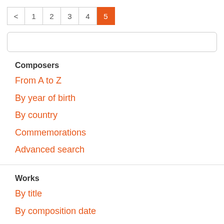< 1 2 3 4 5 (pagination, page 5 active)
[Figure (other): Search input box (empty text field)]
Composers
From A to Z
By year of birth
By country
Commemorations
Advanced search
Works
By title
By composition date
By creation date
By type